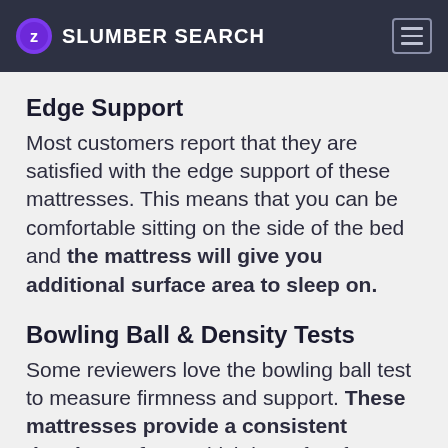SLUMBER SEARCH
Edge Support
Most customers report that they are satisfied with the edge support of these mattresses. This means that you can be comfortable sitting on the side of the bed and the mattress will give you additional surface area to sleep on.
Bowling Ball & Density Tests
Some reviewers love the bowling ball test to measure firmness and support. These mattresses provide a consistent density surface, which is perfect for customers wanting to feel secure above mattress.